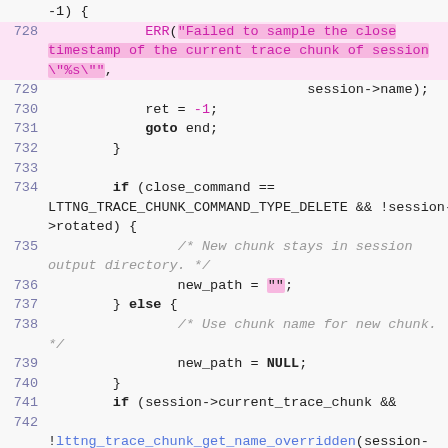[Figure (screenshot): Source code snippet showing C code lines 728-743 with syntax highlighting. Lines 728-729 show an ERR() call with a highlighted string about failing to sample close timestamp. Lines 730-743 show control flow with ret, goto, if statements, new_path assignments, and a comment about renaming new chunk path.]